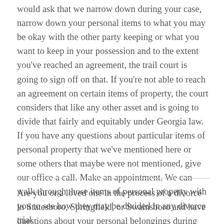would ask that we narrow down during your case, narrow down your personal items to what you may be okay with the other party keeping or what you want to keep in your possession and to the extent you've reached an agreement, the trail court is going to sign off on that. If you're not able to reach an agreement on certain items of property, the court considers that like any other asset and is going to divide that fairly and equitably under Georgia law. If you have any questions about particular items of personal property that we've mentioned here or some others that maybe were not mentioned, give our office a call. Make an appointment. We can walk through those items of personal property with you to see how they may be divided in any divorce trial.
Are you or a loved one in the process of a divorce in Statesboro, Springfield, or Swainsboro and have questions about your personal belongings during the divorce process in